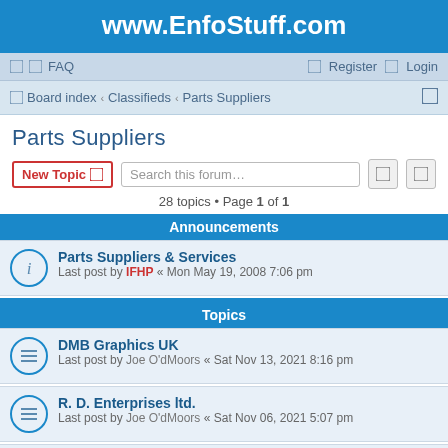www.EnfoStuff.com
FAQ   Register   Login
Board index › Classifieds › Parts Suppliers
Parts Suppliers
New Topic  Search this forum…  28 topics • Page 1 of 1
Announcements
Parts Suppliers & Services
Last post by IFHP « Mon May 19, 2008 7:06 pm
Topics
DMB Graphics UK
Last post by Joe O'dMoors « Sat Nov 13, 2021 8:16 pm
R. D. Enterprises ltd.
Last post by Joe O'dMoors « Sat Nov 06, 2021 5:07 pm
Retro-UK (Chassis plates)
Last post by Joe O'dMoors « Sat Nov 06, 2021 1:12 pm
Replies: 2